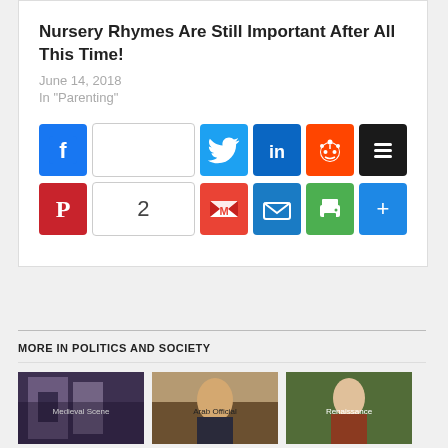Nursery Rhymes Are Still Important After All This Time!
June 14, 2018
In "Parenting"
[Figure (infographic): Social share buttons: Facebook, blank count, Twitter, LinkedIn, Reddit, Buffer (top row); Pinterest, count of 2, Gmail, Email, Print, Share+ (bottom row)]
MORE IN POLITICS AND SOCIETY
[Figure (photo): Historical painting showing figures in medieval/renaissance clothing]
[Figure (photo): Photo of a man in traditional Arab dress seated in a chair]
[Figure (photo): Renaissance painting of a woman in period dress]